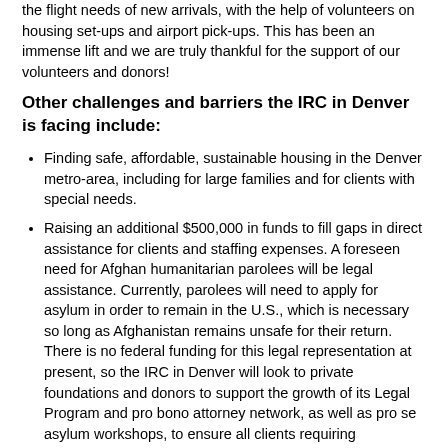the flight needs of new arrivals, with the help of volunteers on housing set-ups and airport pick-ups. This has been an immense lift and we are truly thankful for the support of our volunteers and donors!
Other challenges and barriers the IRC in Denver is facing include:
Finding safe, affordable, sustainable housing in the Denver metro-area, including for large families and for clients with special needs.
Raising an additional $500,000 in funds to fill gaps in direct assistance for clients and staffing expenses. A foreseen need for Afghan humanitarian parolees will be legal assistance. Currently, parolees will need to apply for asylum in order to remain in the U.S., which is necessary so long as Afghanistan remains unsafe for their return. There is no federal funding for this legal representation at present, so the IRC in Denver will look to private foundations and donors to support the growth of its Legal Program and pro bono attorney network, as well as pro se asylum workshops, to ensure all clients requiring assistance applying for asylum can receive qualified legal advice and/or representation as they present their asylum claim to USCIS officers.
Providing all of the furnishings and household items needed